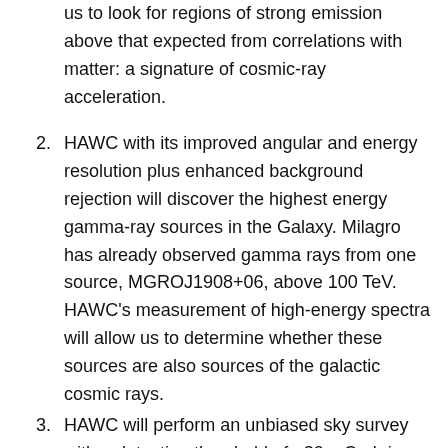us to look for regions of strong emission above that expected from correlations with matter: a signature of cosmic-ray acceleration.
2. HAWC with its improved angular and energy resolution plus enhanced background rejection will discover the highest energy gamma-ray sources in the Galaxy. Milagro has already observed gamma rays from one source, MGROJ1908+06, above 100 TeV. HAWC's measurement of high-energy spectra will allow us to determine whether these sources are also sources of the galactic cosmic rays.
3. HAWC will perform an unbiased sky survey with a detection threshold of ~30 mCrab in